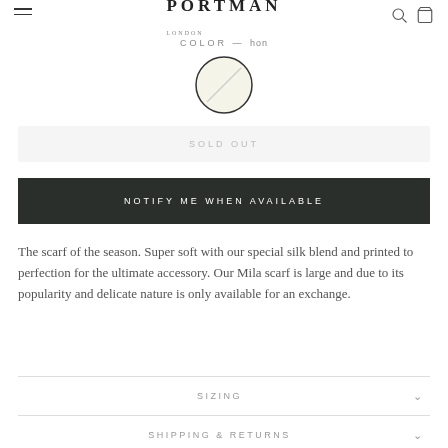PORTMAN LONDON
COLOR — hon
[Figure (illustration): Circular color swatch with light cream/ivory fill and a diagonal line across it, outlined in dark border]
SOLD OUT
NOTIFY ME WHEN AVAILABLE
The scarf of the season. Super soft with our special silk blend and printed to perfection for the ultimate accessory. Our Mila scarf is large and due to its popularity and delicate nature is only available for an exchange.
SIZING
SHIPPING & RETURNS